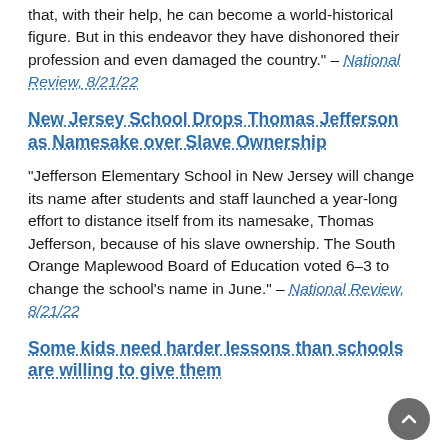that, with their help, he can become a world-historical figure. But in this endeavor they have dishonored their profession and even damaged the country." – National Review, 8/21/22
New Jersey School Drops Thomas Jefferson as Namesake over Slave Ownership
"Jefferson Elementary School in New Jersey will change its name after students and staff launched a year-long effort to distance itself from its namesake, Thomas Jefferson, because of his slave ownership. The South Orange Maplewood Board of Education voted 6–3 to change the school's name in June." – National Review, 8/21/22
Some kids need harder lessons than schools are willing to give them